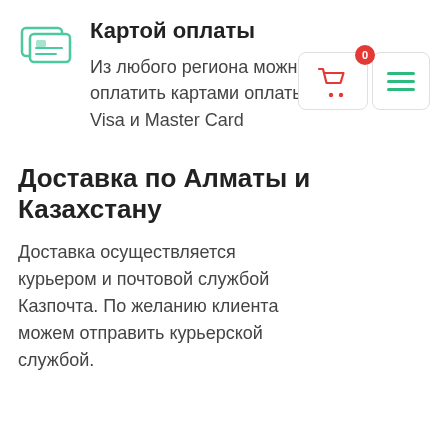[Figure (illustration): Teal/green icon of a payment card with lines, positioned top-left]
Картой оплаты
Из любого региона можно оплатить картами оплаты Visa и Master Card
[Figure (screenshot): Overlay UI showing shopping cart icon with red badge showing 0, and hamburger menu icon with green lines]
Доставка по Алматы и Казахстану
Доставка осуществляется курьером и почтовой службой Казпочта. По желанию клиента можем отправить курьерской службой.